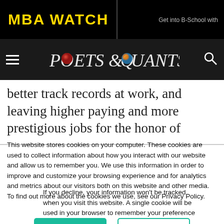MBA WATCH | Get into B-School with
[Figure (logo): Poets & Quants logo with decorative spheres replacing the Os, search icon on right, hamburger menu on left, white text on dark background]
better track records at work, and leaving higher paying and more prestigious jobs for the honor of
This website stores cookies on your computer. These cookies are used to collect information about how you interact with our website and allow us to remember you. We use this information in order to improve and customize your browsing experience and for analytics and metrics about our visitors both on this website and other media. To find out more about the cookies we use, see our Privacy Policy.
If you decline, your information won’t be tracked when you visit this website. A single cookie will be used in your browser to remember your preference not to be tracked.